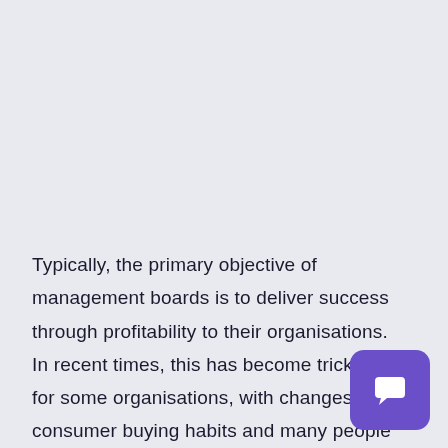Typically, the primary objective of management boards is to deliver success through profitability to their organisations. In recent times, this has become trickier for some organisations, with changes to consumer buying habits and many people 'tightening their belts' In the wake of the pandemic.